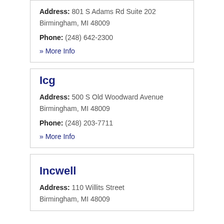Address: 801 S Adams Rd Suite 202 Birmingham, MI 48009
Phone: (248) 642-2300
» More Info
Icg
Address: 500 S Old Woodward Avenue Birmingham, MI 48009
Phone: (248) 203-7711
» More Info
Incwell
Address: 110 Willits Street Birmingham, MI 48009